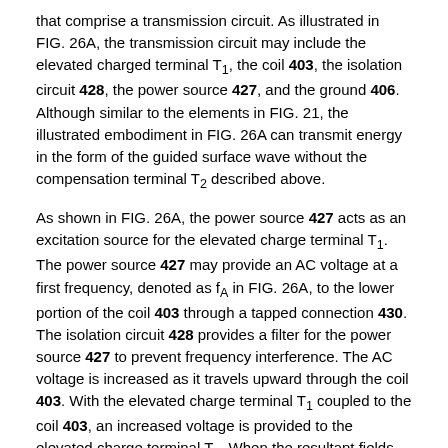that comprise a transmission circuit. As illustrated in FIG. 26A, the transmission circuit may include the elevated charged terminal T1, the coil 403, the isolation circuit 428, the power source 427, and the ground 406. Although similar to the elements in FIG. 21, the illustrated embodiment in FIG. 26A can transmit energy in the form of the guided surface wave without the compensation terminal T2 described above.
As shown in FIG. 26A, the power source 427 acts as an excitation source for the elevated charge terminal T1. The power source 427 may provide an AC voltage at a first frequency, denoted as fA in FIG. 26A, to the lower portion of the coil 403 through a tapped connection 430. The isolation circuit 428 provides a filter for the power source 427 to prevent frequency interference. The AC voltage is increased as it travels upward through the coil 403. With the elevated charge terminal T1 coupled to the coil 403, an increased voltage is provided to the elevated charge terminal T1. When the resultant fields are substantially mode-matched to a guided surface waveguide mode, a guided surface wave is launched along the surface of the